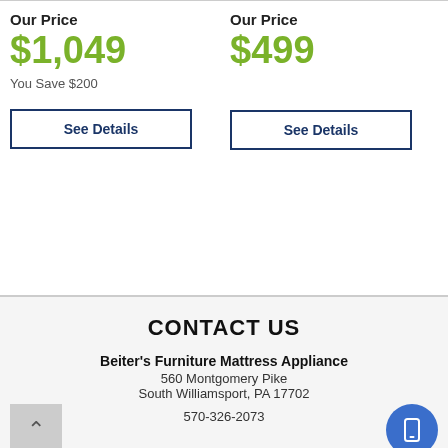Our Price
$1,049
You Save $200
See Details
Our Price
$499
See Details
CONTACT US
Beiter's Furniture Mattress Appliance
560 Montgomery Pike
South Williamsport, PA 17702
570-326-2073